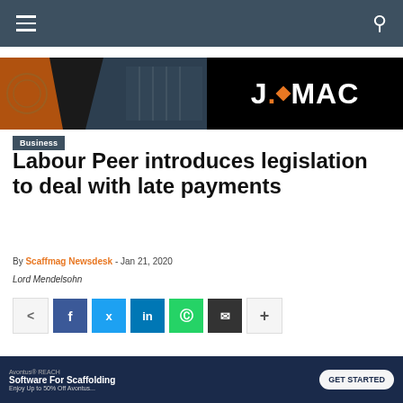Navigation bar with menu and search
[Figure (logo): J.MAC company banner with construction imagery on left and J.MAC logo on right]
Business
Labour Peer introduces legislation to deal with late payments
By Scaffmag Newsdesk - Jan 21, 2020
Lord Mendelsohn
[Figure (infographic): Social share bar with native share, Facebook, Twitter, LinkedIn, WhatsApp, Email, and more buttons]
[Figure (screenshot): Avontus REACH software for scaffolding advertisement banner with GET STARTED button]